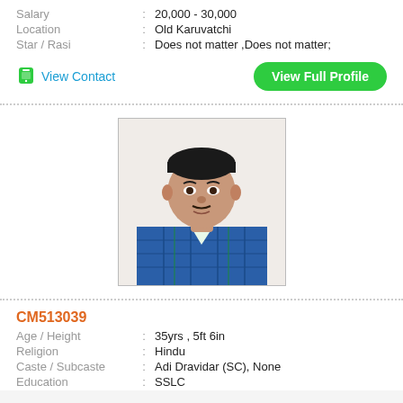Salary : 20,000 - 30,000
Location : Old Karuvatchi
Star / Rasi : Does not matter ,Does not matter;
View Contact
View Full Profile
[Figure (photo): Profile photo of a young man wearing a blue checked shirt, facing the camera.]
CM513039
Age / Height : 35yrs , 5ft 6in
Religion : Hindu
Caste / Subcaste : Adi Dravidar (SC), None
Education : SSLC